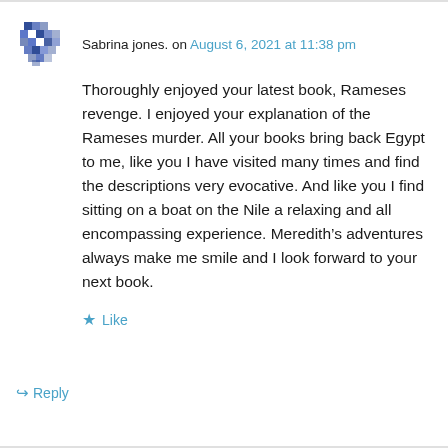Sabrina jones. on August 6, 2021 at 11:38 pm
Thoroughly enjoyed your latest book, Rameses revenge. I enjoyed your explanation of the Rameses murder. All your books bring back Egypt to me, like you I have visited many times and find the descriptions very evocative. And like you I find sitting on a boat on the Nile a relaxing and all encompassing experience. Meredith’s adventures always make me smile and I look forward to your next book.
Like
Reply